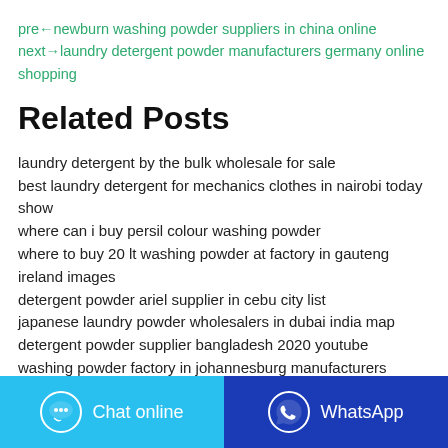pre←newburn washing powder suppliers in china online next→laundry detergent powder manufacturers germany online shopping
Related Posts
laundry detergent by the bulk wholesale for sale
best laundry detergent for mechanics clothes in nairobi today show
where can i buy persil colour washing powder
where to buy 20 lt washing powder at factory in gauteng ireland images
detergent powder ariel supplier in cebu city list
japanese laundry powder wholesalers in dubai india map
detergent powder supplier bangladesh 2020 youtube
washing powder factory in johannesburg manufacturers website login
detergent powder in djibouti alaska 2017
Chat online | WhatsApp